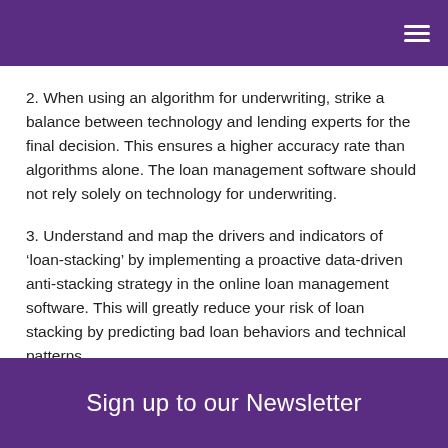2. When using an algorithm for underwriting, strike a balance between technology and lending experts for the final decision. This ensures a higher accuracy rate than algorithms alone. The loan management software should not rely solely on technology for underwriting.
3. Understand and map the drivers and indicators of ‘loan-stacking’ by implementing a proactive data-driven anti-stacking strategy in the online loan management software. This will greatly reduce your risk of loan stacking by predicting bad loan behaviors and technical patterns.
Sign up to our Newsletter